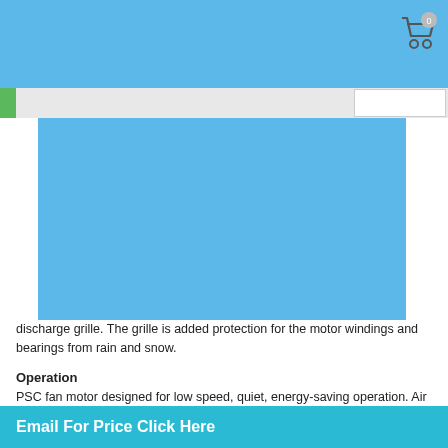service motor and ty. of the discharge grille. The grille is added protection for the motor windings and bearings from rain and snow.
Operation
PSC fan motor designed for low speed, quiet, energy-saving operation. Air is discharged upward away from bushes and shrubs. The discharge pattern of the top grille provides minimum air restriction, resulting in quieter fan operation. Condenser coils constructed with copper tubing and enhanced aluminum fins.
Low Profile
The industries low profile design makes the unit less noticeable in your yard and is easily installed leaving room for optional equipment and optimal access for maintenance.
Email For Price Click Here